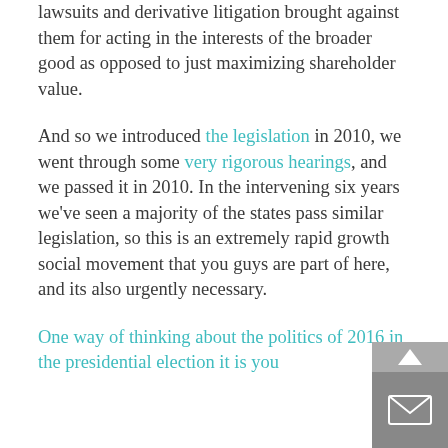lawsuits and derivative litigation brought against them for acting in the interests of the broader good as opposed to just maximizing shareholder value.
And so we introduced the legislation in 2010, we went through some very rigorous hearings, and we passed it in 2010. In the intervening six years we've seen a majority of the states pass similar legislation, so this is an extremely rapid growth social movement that you guys are part of here, and its also urgently necessary.
One way of thinking about the politics of 2016 in the presidential election it is you